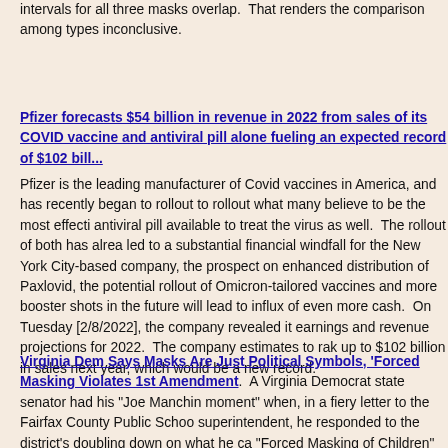intervals for all three masks overlap. That renders the comparison among types inconclusive.
Pfizer forecasts $54 billion in revenue in 2022 from sales of its COVID vaccine and antiviral pill alone fueling an expected record of $102 bill...
Pfizer is the leading manufacturer of Covid vaccines in America, and has recently began to rollout to rollout what many believe to be the most effective antiviral pill available to treat the virus as well. The rollout of both has already led to a substantial financial windfall for the New York City-based company, the prospect on enhanced distribution of Paxlovid, the potential rollout of Omicron-tailored vaccines and more booster shots in the future will lead to an influx of even more cash. On Tuesday [2/8/2022], the company revealed its earnings and revenue projections for 2022. The company estimates to rake up to $102 billion in sales next year, which would be a new record.
Virginia Dem Says Masks Are Just Political Symbols, 'Forced Masking Violates 1st Amendment.
A Virginia Democrat state senator had his "Joe Manchin moment" when, in a fiery letter to the Fairfax County Public School superintendent, he responded to the district's doubling down on what he called "Forced Masking of Children" by vowing to pass a law prohibiting it "in the coming days." "It has become hard, if not impossible, to find a respected medical researcher who still defends Forced Masking of Children as a public safety measure," Sen. Chap Petersen wrote Monday [2/7/2022]. Petersen, a moderate Democrat from Fairfax City, serves in a state senate where Democrats have such a thin majority that, when he votes with Republicans, Republicans can pass legislation. "The decision to wear a mask in public - when there is so little correlation with public health — makes it de facto a political decision. In other words, by wearing a mask in a public setting, the wearer is able to communicate a political message, e.g. "I Care About Others"